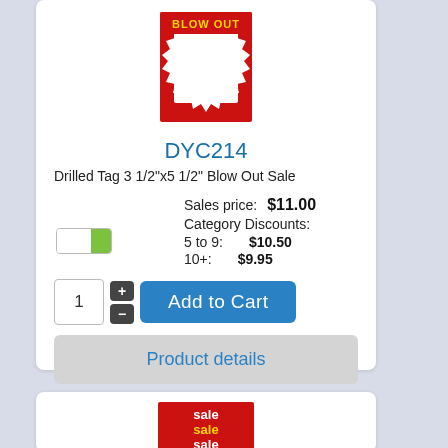[Figure (illustration): Red sale tag with white starburst border, showing a 'Blow Out Sale' label on a red background]
DYC214
Drilled Tag 3 1/2"x5 1/2" Blow Out Sale
Sales price: $11.00
Category Discounts:
5 to 9: $10.50
10+: $9.95
[Figure (screenshot): Add to Cart UI: quantity input box with value 1, plus and minus buttons, and a blue Add to Cart button]
Product details
[Figure (illustration): Red sale tag with 'sale sale sale' text repeated in yellow and white]